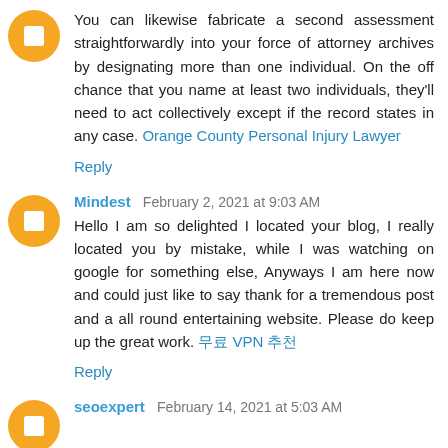You can likewise fabricate a second assessment straightforwardly into your force of attorney archives by designating more than one individual. On the off chance that you name at least two individuals, they'll need to act collectively except if the record states in any case. Orange County Personal Injury Lawyer
Reply
Mindest  February 2, 2021 at 9:03 AM
Hello I am so delighted I located your blog, I really located you by mistake, while I was watching on google for something else, Anyways I am here now and could just like to say thank for a tremendous post and a all round entertaining website. Please do keep up the great work. 무료 VPN 추천
Reply
seoexpert  February 14, 2021 at 5:03 AM